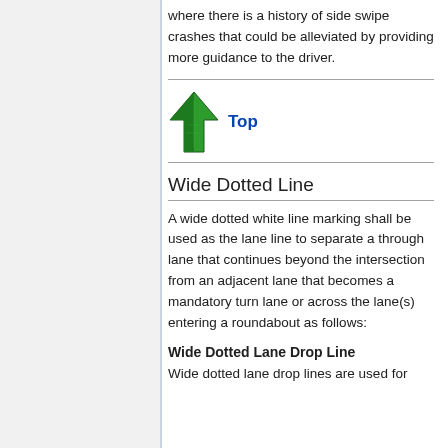where there is a history of side swipe crashes that could be alleviated by providing more guidance to the driver.
[Figure (illustration): Green upward arrow icon with 'Top' link in blue text]
Wide Dotted Line
A wide dotted white line marking shall be used as the lane line to separate a through lane that continues beyond the intersection from an adjacent lane that becomes a mandatory turn lane or across the lane(s) entering a roundabout as follows:
Wide Dotted Lane Drop Line
Wide dotted lane drop lines are used for